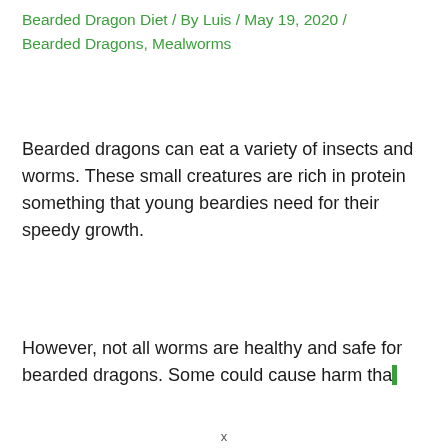Bearded Dragon Diet / By Luis / May 19, 2020 / Bearded Dragons, Mealworms
Bearded dragons can eat a variety of insects and worms. These small creatures are rich in protein something that young beardies need for their speedy growth.
However, not all worms are healthy and safe for bearded dragons. Some could cause harm tha[t]...